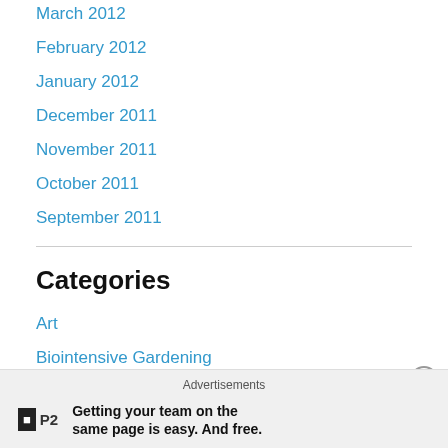March 2012
February 2012
January 2012
December 2011
November 2011
October 2011
September 2011
Categories
Art
Biointensive Gardening
Choose 901
Crafting
Environmental
Advertisements
Getting your team on the same page is easy. And free.